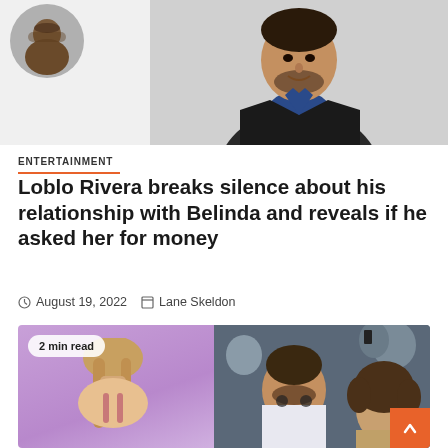[Figure (photo): Top: circular avatar photo of a bearded man (top-left), and a main photo of a man in dark blazer and blue shirt (center-right)]
ENTERTAINMENT
Loblo Rivera breaks silence about his relationship with Belinda and reveals if he asked her for money
August 19, 2022   Lane Skeldon
[Figure (photo): Bottom left: woman with long hair from behind against purple background with '2 min read' badge. Bottom right: man with beard sitting in crowd, woman with curly hair next to him. Orange scroll-up button overlay.]